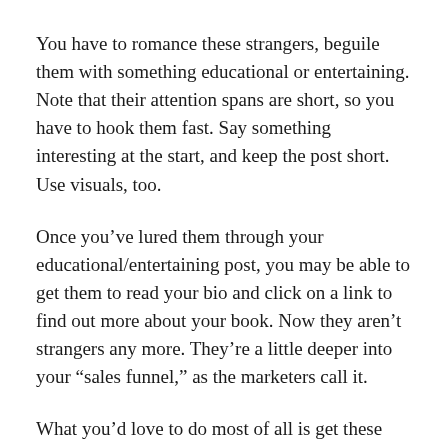You have to romance these strangers, beguile them with something educational or entertaining. Note that their attention spans are short, so you have to hook them fast. Say something interesting at the start, and keep the post short. Use visuals, too.
Once you’ve lured them through your educational/entertaining post, you may be able to get them to read your bio and click on a link to find out more about your book. Now they aren’t strangers any more. They’re a little deeper into your “sales funnel,” as the marketers call it.
What you’d love to do most of all is get these not-strangers to sign up for your email list and stay in touch. Do you have an email list? Can you structure